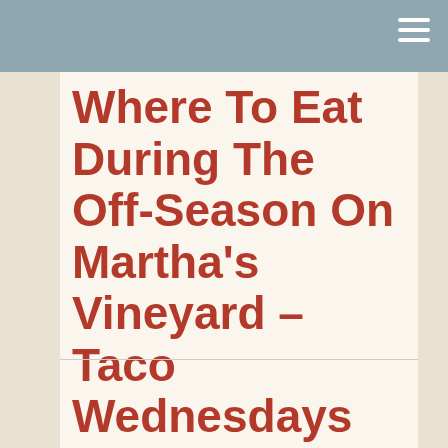Where To Eat During The Off-Season On Martha's Vineyard – Taco Wednesdays At Atria Of Course!
February 4, 2014
Guinevere Cramer
Leave a comment